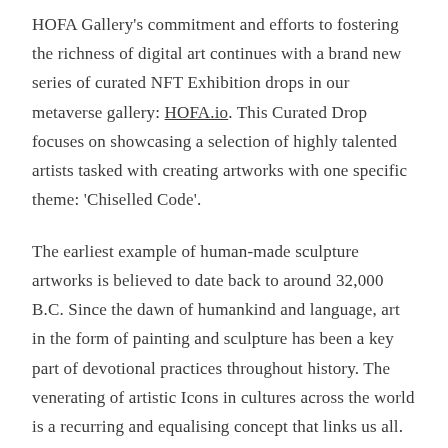HOFA Gallery's commitment and efforts to fostering the richness of digital art continues with a brand new series of curated NFT Exhibition drops in our metaverse gallery: HOFA.io. This Curated Drop focuses on showcasing a selection of highly talented artists tasked with creating artworks with one specific theme: 'Chiselled Code'.
The earliest example of human-made sculpture artworks is believed to date back to around 32,000 B.C. Since the dawn of humankind and language, art in the form of painting and sculpture has been a key part of devotional practices throughout history. The venerating of artistic Icons in cultures across the world is a recurring and equalising concept that links us all. The earliest known sculpture is said to be The